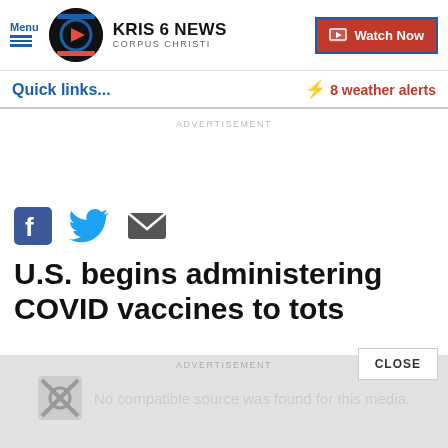Menu | KRIS 6 NEWS CORPUS CHRISTI | Watch Now
Quick links...
⚡ 8 weather alerts
ADVERTISEMENT
[Figure (other): Social sharing icons: Facebook, Twitter, Email]
U.S. begins administering COVID vaccines to tots
CLOSE
ADVERTISEMENT
No compatible source was found for this media.